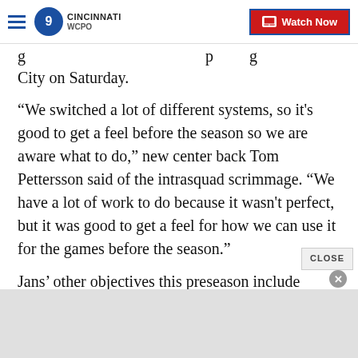WCPO 9 Cincinnati | Watch Now
g                                                           p      g City on Saturday.
“We switched a lot of different systems, so it's good to get a feel before the season so we are aware what to do,” new center back Tom Pettersson said of the intrasquad scrimmage. “We have a lot of work to do because it wasn't perfect, but it was good to get a feel for how we can use it for the games before the season.”
Jans’ other objectives this preseason include physically preparing the players and developing team chemis